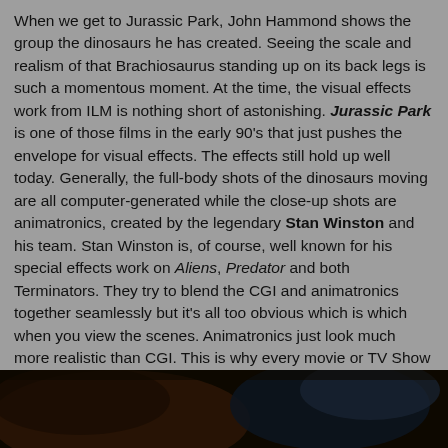When we get to Jurassic Park, John Hammond shows the group the dinosaurs he has created. Seeing the scale and realism of that Brachiosaurus standing up on its back legs is such a momentous moment. At the time, the visual effects work from ILM is nothing short of astonishing. Jurassic Park is one of those films in the early 90's that just pushes the envelope for visual effects. The effects still hold up well today. Generally, the full-body shots of the dinosaurs moving are all computer-generated while the close-up shots are animatronics, created by the legendary Stan Winston and his team. Stan Winston is, of course, well known for his special effects work on Aliens, Predator and both Terminators. They try to blend the CGI and animatronics together seamlessly but it's all too obvious which is which when you view the scenes. Animatronics just look much more realistic than CGI. This is why every movie or TV Show that feature dinosaurs (like the recent Terra Nova) never seems to match Jurassic Park in the effects department. They rely on cheap CGI for everything instead of creating actual animatronics.
[Figure (photo): Dark scene photograph, appears to be a dimly lit movie still with dark brown and blue tones, possibly showing a dinosaur or creature in shadow]